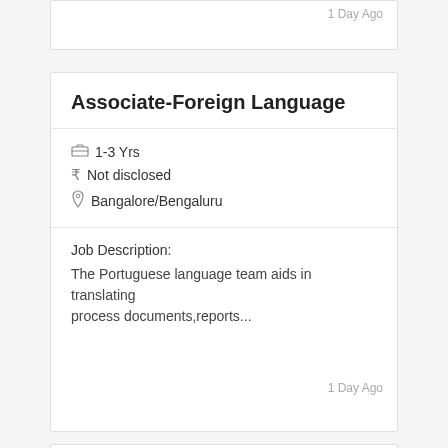1 Day Ago
Associate-Foreign Language
1-3 Yrs
Not disclosed
Bangalore/Bengaluru
Job Description:
The Portuguese language team aids in translating process documents,reports...
1 Day Ago